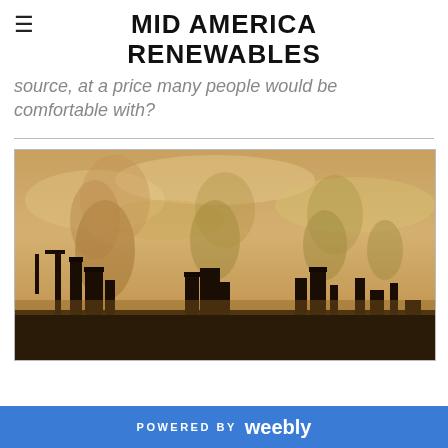MID AMERICA RENEWABLES
source, at a price many people would be comfortable with?
[Figure (photo): Industrial silhouette with factory smokestacks emitting smoke against a hazy, warm amber sky — industrial pollution scene.]
POWERED BY weebly